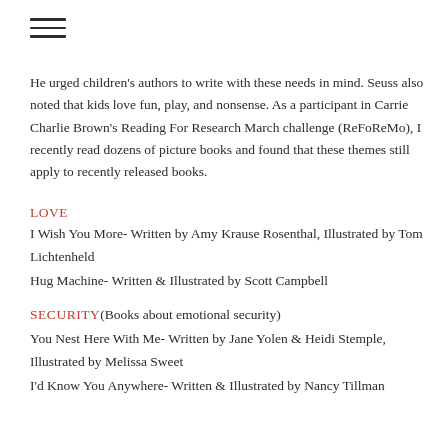He urged children's authors to write with these needs in mind. Seuss also noted that kids love fun, play, and nonsense. As a participant in Carrie Charlie Brown's Reading For Research March challenge (ReFoReMo), I recently read dozens of picture books and found that these themes still apply to recently released books.
LOVE
I Wish You More- Written by Amy Krause Rosenthal, Illustrated by Tom Lichtenheld
Hug Machine- Written & Illustrated by Scott Campbell
SECURITY (Books about emotional security)
You Nest Here With Me- Written by Jane Yolen & Heidi Stemple, Illustrated by Melissa Sweet
I'd Know You Anywhere- Written & Illustrated by Nancy Tillman